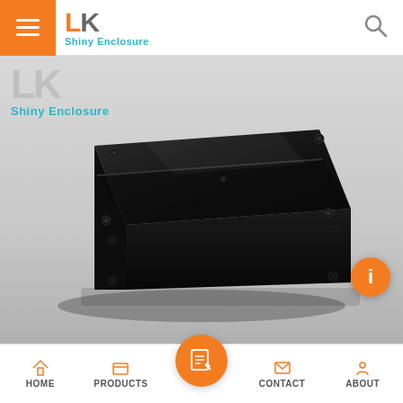[Figure (screenshot): LK Shiny Enclosure website header with hamburger menu (orange), LK logo in orange/grey, Shiny Enclosure subtitle in teal, and search icon on right]
[Figure (photo): Black rectangular plastic/ABS junction box enclosure photographed against white/grey background, showing top and two sides with rounded corners and screw bosses at four corners. Shiny Enclosure LK watermark logo visible in top-left of image area.]
[Figure (screenshot): Orange floating circular info/chat button on right side of product image]
[Figure (screenshot): Bottom navigation bar with HOME, PRODUCTS, center orange circle with notepad/pencil icon, CONTACT, and ABOUT navigation items]